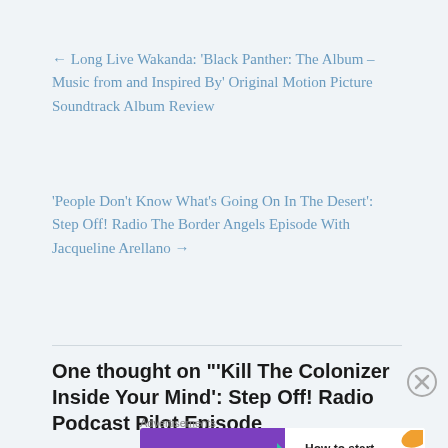← Long Live Wakanda: 'Black Panther: The Album – Music from and Inspired By' Original Motion Picture Soundtrack Album Review
'People Don't Know What's Going On In The Desert': Step Off! Radio The Border Angels Episode With Jacqueline Arellano →
One thought on "'Kill The Colonizer Inside Your Mind': Step Off! Radio Podcast Pilot Episode
Advertisements
[Figure (other): WooCommerce advertisement banner - How to start selling subscriptions online]